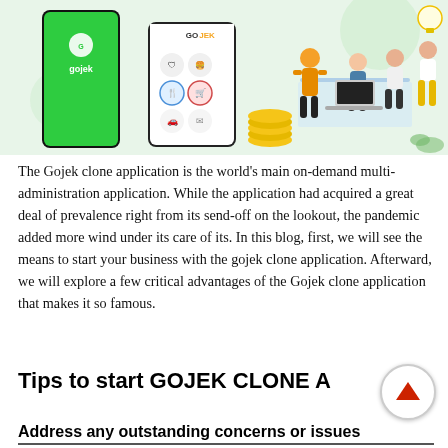[Figure (illustration): Illustration of a Gojek app interface on a smartphone alongside people working at a desk with laptops, set against a light green background with icons and coins.]
The Gojek clone application is the world's main on-demand multi-administration application. While the application had acquired a great deal of prevalence right from its send-off on the lookout, the pandemic added more wind under its care of its. In this blog, first, we will see the means to start your business with the gojek clone application. Afterward, we will explore a few critical advantages of the Gojek clone application that makes it so famous.
Tips to start GOJEK CLONE A
Address any outstanding concerns or issues